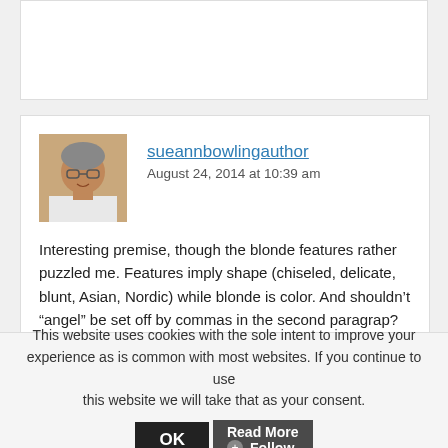[Figure (photo): Top partial comment box (blank white area)]
[Figure (photo): Avatar/profile photo of sueannbowlingauthor — older woman with glasses and short gray hair]
sueannbowlingauthor
August 24, 2014 at 10:39 am
Interesting premise, though the blonde features rather puzzled me. Features imply shape (chiseled, delicate, blunt, Asian, Nordic) while blonde is color. And shouldn’t “angel” be set off by commas in the second paragrap?
Reply
[Figure (screenshot): Bottom partial reply box (blank white area)]
This website uses cookies with the sole intent to improve your experience as is common with most websites. If you continue to use this website we will take that as your consent.
OK
Read More
✚ Follow